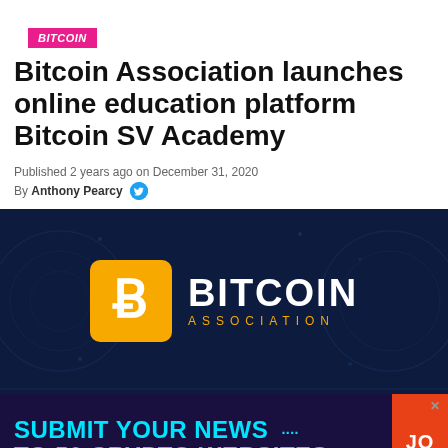BITCOIN
Bitcoin Association launches online education platform Bitcoin SV Academy
Published 2 years ago on December 31, 2020
By Anthony Pearcy
[Figure (logo): Bitcoin Association logo on dark blue background with blockchain graphics. Gold square with white B symbol and BITCOIN ASSOCIATION text.]
[Figure (infographic): Advertisement banner: SUBMIT YOUR NEWS TO 50 CRYPTO WEBSITES with cyan text on dark purple background, red CTA button with JO text.]